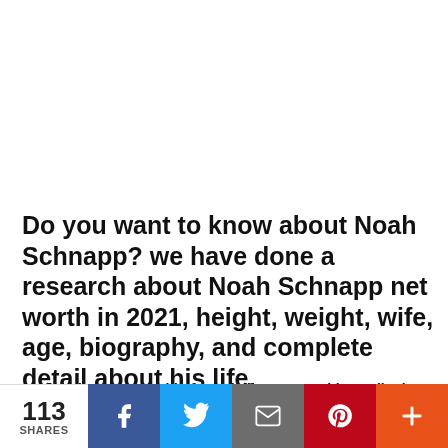Do you want to know about Noah Schnapp? we have done a research about Noah Schnapp net worth in 2021, height, weight, wife, age, biography, and complete detail about his life.
Noah Schnapp Age, chloe, mitchell, stranger things, tiktok, 2020, Height, Weight, Net Worth, Wife, Wiki
113 SHARES | Facebook | Twitter | Email | Pinterest | More